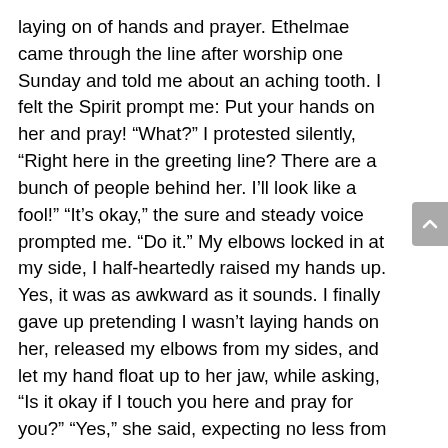laying on of hands and prayer. Ethelmae came through the line after worship one Sunday and told me about an aching tooth. I felt the Spirit prompt me: Put your hands on her and pray! “What?” I protested silently, “Right here in the greeting line? There are a bunch of people behind her. I’ll look like a fool!” “It’s okay,” the sure and steady voice prompted me. “Do it.” My elbows locked in at my side, I half-heartedly raised my hands up. Yes, it was as awkward as it sounds. I finally gave up pretending I wasn’t laying hands on her, released my elbows from my sides, and let my hand float up to her jaw, while asking, “Is it okay if I touch you here and pray for you?” “Yes,” she said, expecting no less from her pastor. She closed her eyes as I prayed. “Gracious God, please heal Ethelmae,